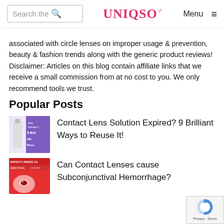Search the | UNIQSO | Menu
associated with circle lenses on improper usage & prevention, beauty & fashion trends along with the generic product reviews! Disclaimer: Articles on this blog contain affiliate links that we receive a small commission from at no cost to you. We only recommend tools we trust.
Popular Posts
[Figure (photo): Thumbnail image for 'Contact Lens Solution Expired? 9 Brilliant Ways to Reuse It!' showing a contact lens solution bottle on a purple background with text overlay]
Contact Lens Solution Expired? 9 Brilliant Ways to Reuse It!
[Figure (photo): Thumbnail image for 'Can Contact Lenses cause Subconjunctival Hemorrhage?' showing a woman with a red eye on a red background with text overlay]
Can Contact Lenses cause Subconjunctival Hemorrhage?